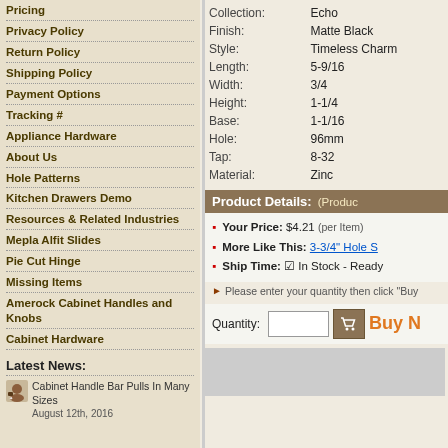Pricing
Privacy Policy
Return Policy
Shipping Policy
Payment Options
Tracking #
Appliance Hardware
About Us
Hole Patterns
Kitchen Drawers Demo
Resources & Related Industries
Mepla Alfit Slides
Pie Cut Hinge
Missing Items
Amerock Cabinet Handles and Knobs
Cabinet Hardware
Latest News:
Cabinet Handle Bar Pulls In Many Sizes
August 12th, 2016
| Property | Value |
| --- | --- |
| Collection: | Echo |
| Finish: | Matte Black |
| Style: | Timeless Charm |
| Length: | 5-9/16 |
| Width: | 3/4 |
| Height: | 1-1/4 |
| Base: | 1-1/16 |
| Hole: | 96mm |
| Tap: | 8-32 |
| Material: | Zinc |
Product Details:  (Produc…
Your Price: $4.21 (per Item)
More Like This: 3-3/4" Hole S…
Ship Time: ✓ In Stock - Ready…
Please enter your quantity then click "Buy…
Quantity:  [input]  [cart]  Buy N…